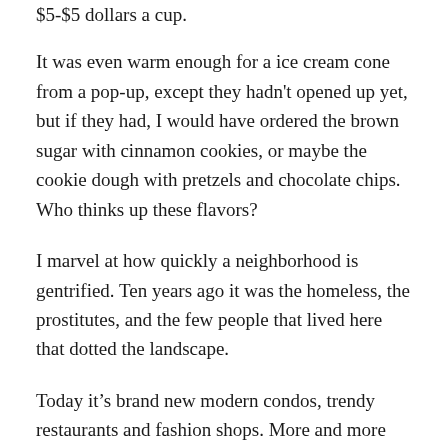$5-$5 dollars a cup.
It was even warm enough for a ice cream cone from a pop-up, except they hadn't opened up yet, but if they had, I would have ordered the brown sugar with cinnamon cookies, or maybe the cookie dough with pretzels and chocolate chips. Who thinks up these flavors?
I marvel at how quickly a neighborhood is gentrified. Ten years ago it was the homeless, the prostitutes, and the few people that lived here that dotted the landscape.
Today it's brand new modern condos, trendy restaurants and fashion shops. More and more techies in packs roam the streets looking for food and coffee and are willing to pay top dollar for it. My favorite second-hand